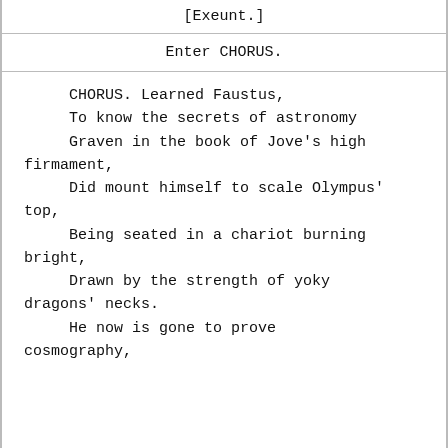[Exeunt.]
Enter CHORUS.
CHORUS. Learned Faustus,
    To know the secrets of astronomy
    Graven in the book of Jove's high firmament,
    Did mount himself to scale Olympus' top,
    Being seated in a chariot burning bright,
    Drawn by the strength of yoky dragons' necks.
    He now is gone to prove cosmography,